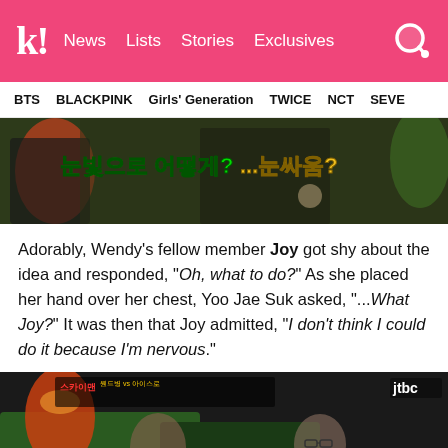k! News Lists Stories Exclusives
BTS  BLACKPINK  Girls' Generation  TWICE  NCT  SEVE
[Figure (screenshot): Korean TV show screenshot with Korean text overlay reading '눈빛으로 어떻게?...눈싸움?' on a dark background with a man gesturing]
Adorably, Wendy's fellow member Joy got shy about the idea and responded, “Oh, what to do?” As she placed her hand over her chest, Yoo Jae Suk asked, “...What Joy?” It was then that Joy admitted, “I don’t think I could do it because I’m nervous.”
[Figure (screenshot): Korean TV show JTBC screenshot showing a woman and a man with glasses sitting at a table, with show title graphic visible]